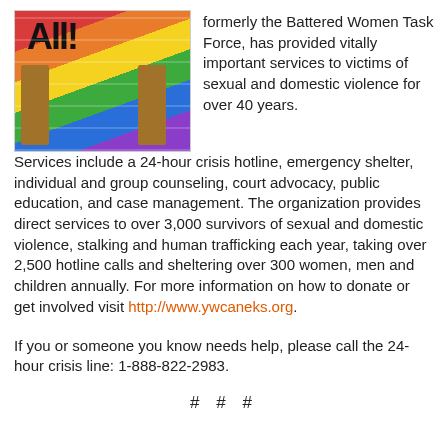[Figure (photo): Colorful rainbow-striped sign with handwritten text, held with wooden sticks, showing bright colors including red, orange, yellow, green, blue, and purple stripes]
formerly the Battered Women Task Force, has provided vitally important services to victims of sexual and domestic violence for over 40 years. Services include a 24-hour crisis hotline, emergency shelter, individual and group counseling, court advocacy, public education, and case management. The organization provides direct services to over 3,000 survivors of sexual and domestic violence, stalking and human trafficking each year, taking over 2,500 hotline calls and sheltering over 300 women, men and children annually. For more information on how to donate or get involved visit http://www.ywcaneks.org.
If you or someone you know needs help, please call the 24-hour crisis line: 1-888-822-2983.
# # #